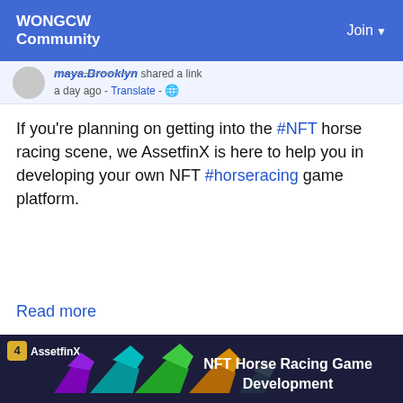WONGCW Community | Join
maya.Brooklyn shared a link
a day ago · Translate · 🌐
If you're planning on getting into the #NFT horse racing scene, we AssetfinX is here to help you in developing your own NFT #horseracing game platform.
Read more
[Figure (illustration): AssetfinX promotional banner showing colorful low-poly geometric horses running, with text 'NFT Horse Racing Game Development' and AssetfinX logo in top left corner, dark background.]